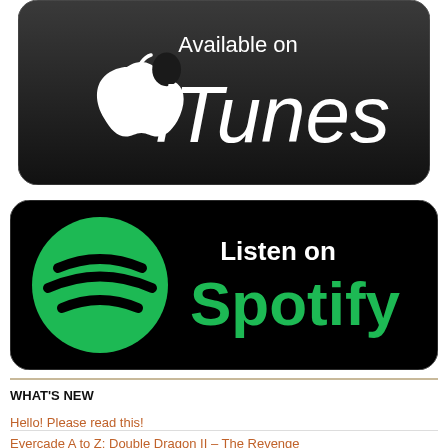[Figure (logo): Available on iTunes badge — black rounded rectangle with Apple logo on left and 'Available on iTunes' text on right in white]
[Figure (logo): Listen on Spotify badge — black rounded rectangle with green Spotify circle logo on left and 'Listen on Spotify' text in white and green on right]
WHAT'S NEW
Hello! Please read this!
Evercade A to Z: Double Dragon II – The Revenge